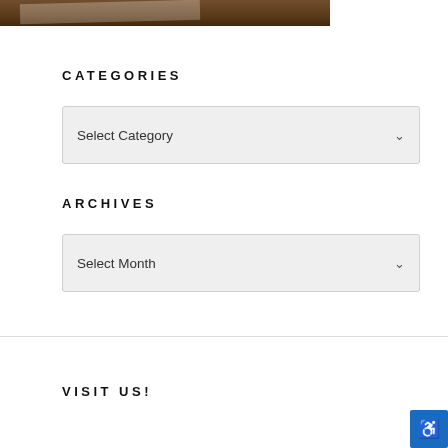[Figure (photo): Partial photo showing papers on a wooden table/surface, cropped at the top of the page]
CATEGORIES
Select Category
ARCHIVES
Select Month
VISIT US!